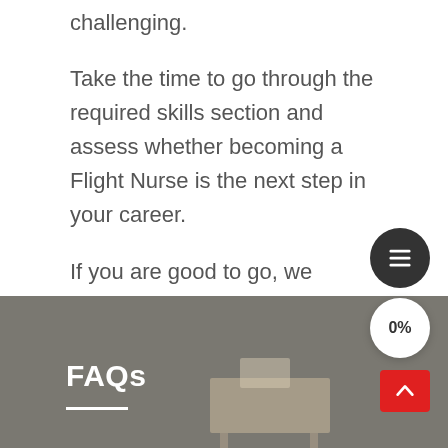challenging.
Take the time to go through the required skills section and assess whether becoming a Flight Nurse is the next step in your career.
If you are good to go, we encourage you to start the journey today.
FAQs